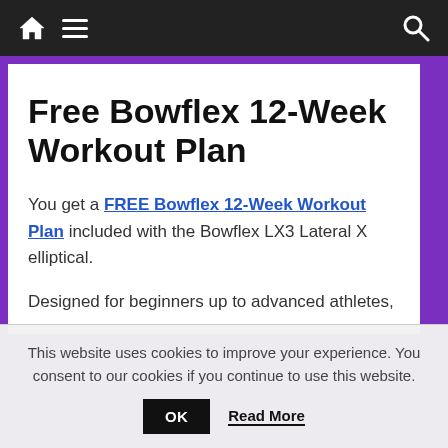Navigation bar with home, menu, and search icons
Free Bowflex 12-Week Workout Plan
You get a FREE Bowflex 12-Week Workout Plan included with the Bowflex LX3 Lateral X elliptical.
Designed for beginners up to advanced athletes,
This website uses cookies to improve your experience. You consent to our cookies if you continue to use this website.